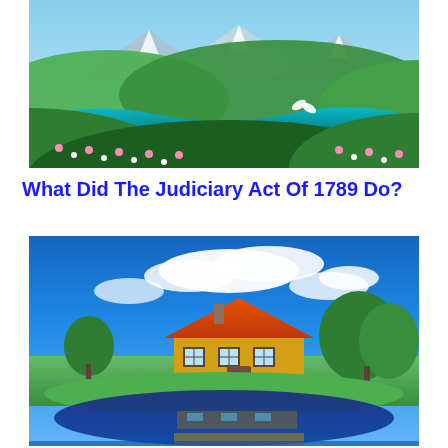[Figure (illustration): Scenic landscape with green rolling hills, a teal river or lake, white flowers in the foreground, mountains in the background, bright blue sky.]
What Did The Judiciary Act Of 1789 Do?
[Figure (photo): Picturesque landscape with a wooden house/chalet with orange roof on a green lawn under a bright blue sky with white clouds, trees in background, and a calm reflective pond in the foreground mirroring the house and trees.]